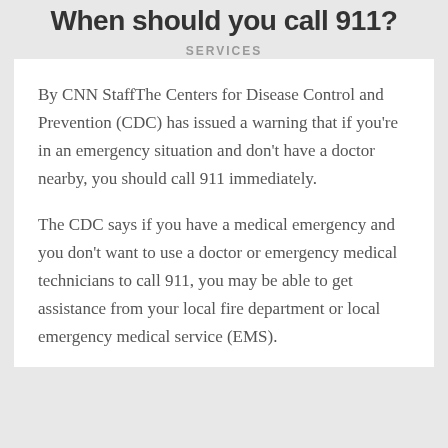When should you call 911?
SERVICES
By CNN StaffThe Centers for Disease Control and Prevention (CDC) has issued a warning that if you're in an emergency situation and don't have a doctor nearby, you should call 911 immediately.
The CDC says if you have a medical emergency and you don't want to use a doctor or emergency medical technicians to call 911, you may be able to get assistance from your local fire department or local emergency medical service (EMS).